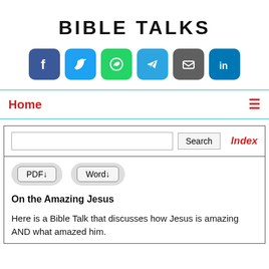BIBLE TALKS
[Figure (infographic): Social media share buttons: Facebook (dark blue), Twitter (light blue), WhatsApp (green), Telegram (sky blue), Email (gray), LinkedIn (blue)]
Home  ≡
Search   Index
PDF↓   Word↓
On the Amazing Jesus
Here is a Bible Talk that discusses how Jesus is amazing AND what amazed him.